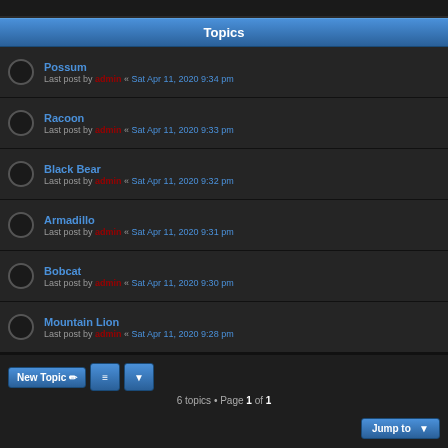Topics
Possum — Last post by admin « Sat Apr 11, 2020 9:34 pm
Racoon — Last post by admin « Sat Apr 11, 2020 9:33 pm
Black Bear — Last post by admin « Sat Apr 11, 2020 9:32 pm
Armadillo — Last post by admin « Sat Apr 11, 2020 9:31 pm
Bobcat — Last post by admin « Sat Apr 11, 2020 9:30 pm
Mountain Lion — Last post by admin « Sat Apr 11, 2020 9:28 pm
6 topics • Page 1 of 1
Chat Center
You do not have permission to post in chat.